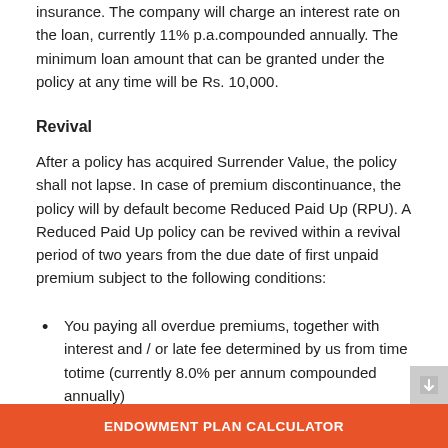insurance. The company will charge an interest rate on the loan, currently 11% p.a.compounded annually. The minimum loan amount that can be granted under the policy at any time will be Rs. 10,000.
Revival
After a policy has acquired Surrender Value, the policy shall not lapse. In case of premium discontinuance, the policy will by default become Reduced Paid Up (RPU). A Reduced Paid Up policy can be revived within a revival period of two years from the due date of first unpaid premium subject to the following conditions:
You paying all overdue premiums, together with interest and / or late fee determined by us from time totime (currently 8.0% per annum compounded annually)
The Life Insured producing an evidence of
ENDOWMENT PLAN CALCULATOR